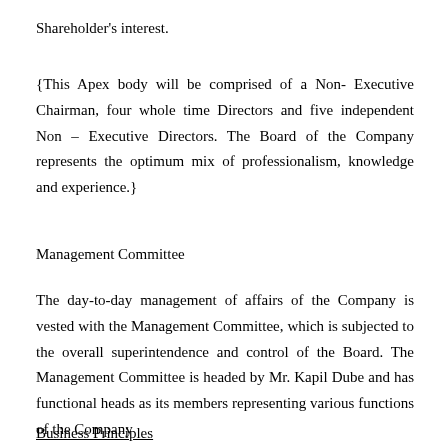Shareholder's interest.
{This Apex body will be comprised of a Non- Executive Chairman, four whole time Directors and five independent Non – Executive Directors. The Board of the Company represents the optimum mix of professionalism, knowledge and experience.}
Management Committee
The day-to-day management of affairs of the Company is vested with the Management Committee, which is subjected to the overall superintendence and control of the Board. The Management Committee is headed by Mr. Kapil Dube and has functional heads as its members representing various functions of the Company
Business Principles